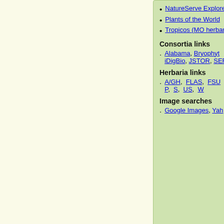NatureServe Explorer
Plants of the World
Tropicos (MO herbar...)
Consortia links
Alabama, Bryophyt... iDigBio, JSTOR, SER...
Herbaria links
A/GH, FLAS, FSU... P, S, US, W
Image searches
Google Images, Yah...
Source
| County | Herbaria | Literature Citation (If Applicable) |
| --- | --- | --- |
| Broward | FTG |  |
| Broward | FTG |  |
| Collier | USF |  |
| Lee | USF |  |
| Miami-Dade | FLAS |  |
+ Expand All